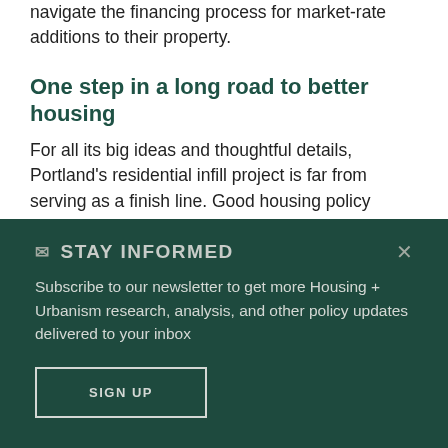navigate the financing process for market-rate additions to their property.
One step in a long road to better housing
For all its big ideas and thoughtful details, Portland's residential infill project is far from serving as a finish line. Good housing policy requires good zoning, adequate funding, construction, and context...
✉ STAY INFORMED
Subscribe to our newsletter to get more Housing + Urbanism research, analysis, and other policy updates delivered to your inbox
SIGN UP